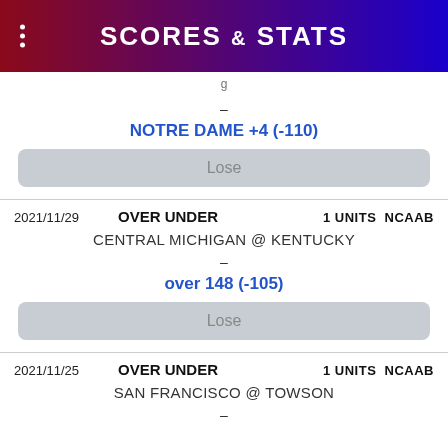SCORES & STATS
-
NOTRE DAME +4 (-110)
Lose
2021/11/29   OVER UNDER   1 UNITS  NCAAB
CENTRAL MICHIGAN @ KENTUCKY
-
over 148 (-105)
Lose
2021/11/25   OVER UNDER   1 UNITS  NCAAB
SAN FRANCISCO @ TOWSON
-